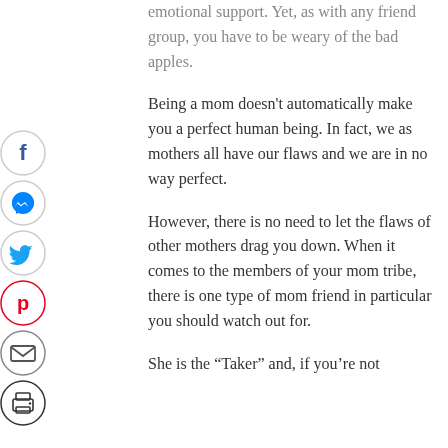emotional support. Yet, as with any friend group, you have to be weary of the bad apples.
[Figure (infographic): Social sharing sidebar with icons for Facebook, Messenger, Twitter, Pinterest, Email, and Print]
Being a mom doesn't automatically make you a perfect human being. In fact, we as mothers all have our flaws and we are in no way perfect.
However, there is no need to let the flaws of other mothers drag you down. When it comes to the members of your mom tribe, there is one type of mom friend in particular you should watch out for.
She is the “Taker” and, if you’re not